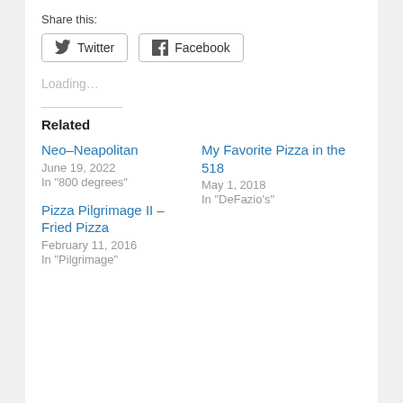Share this:
Twitter  Facebook
Loading…
Related
Neo–Neapolitan
June 19, 2022
In "800 degrees"
My Favorite Pizza in the 518
May 1, 2018
In "DeFazio's"
Pizza Pilgrimage II – Fried Pizza
February 11, 2016
In "Pilgrimage"